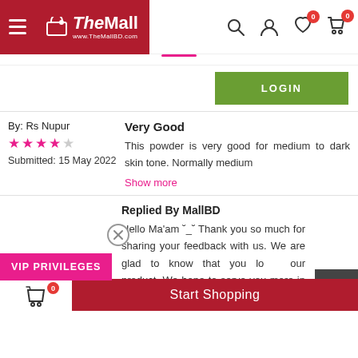[Figure (screenshot): TheMall website header with hamburger menu, logo, search icon, user icon, wishlist icon with badge 0, cart icon with badge 0]
[Figure (screenshot): Tab underline indicator and LOGIN button in green]
By: Rs Nupur
★★★★☆
Submitted: 15 May 2022
Very Good
This powder is very good for medium to dark skin tone. Normally medium
Show more
Replied By MallBD
Hello Ma'am ˘_˘ Thank you so much for sharing your feedback with us. We are glad to know that you lo our product. We hope to serve you more in future - The Mall Team.
[Figure (screenshot): VIP PRIVILEGES button in magenta, close X circle, scroll-to-top dark button, bottom Start Shopping bar in red]
Start Shopping